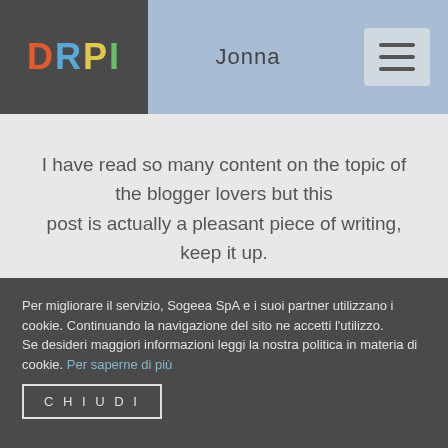DRPI | Jonna
I have read so many content on the topic of the blogger lovers but this post is actually a pleasant piece of writing, keep it up.

Check out my site ... asmr – bitly.com,
Per migliorare il servizio, Sogeea SpA e i suoi partner utilizzano i cookie. Continuando la navigazione del sito ne accetti l'utilizzo.
Se desideri maggiori informazioni leggi la nostra politica in materia di cookie. Per saperne di più
CHIUDI